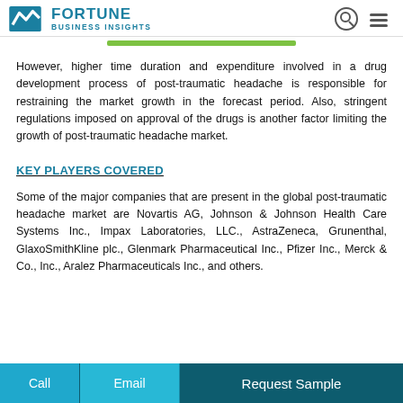FORTUNE BUSINESS INSIGHTS
However, higher time duration and expenditure involved in a drug development process of post-traumatic headache is responsible for restraining the market growth in the forecast period. Also, stringent regulations imposed on approval of the drugs is another factor limiting the growth of post-traumatic headache market.
KEY PLAYERS COVERED
Some of the major companies that are present in the global post-traumatic headache market are Novartis AG, Johnson & Johnson Health Care Systems Inc., Impax Laboratories, LLC., AstraZeneca, Grunenthal, GlaxoSmithKline plc., Glenmark Pharmaceutical Inc., Pfizer Inc., Merck & Co., Inc., Aralez Pharmaceuticals Inc., and others.
Call  Email  Request Sample